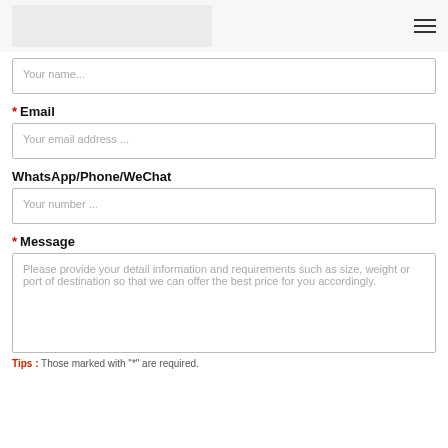Your name...
* Email
Your email address ...
WhatsApp/Phone/WeChat
Your number ...
* Message
Please provide your detail information and requirements such as size, weight or port of destination so that we can offer the best price for you accordingly.
Tips : Those marked with "*" are required.